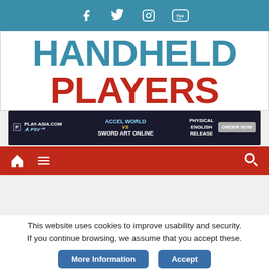Social media icons: Facebook, Twitter, Instagram, YouTube
HANDHELD PLAYERS
[Figure (screenshot): Play-Asia.com advertisement banner for Accel World vs Sword Art Online PS Vita Physical English Release - Order Now]
[Figure (screenshot): Red navigation bar with home icon, menu icon, and search icon]
[Figure (screenshot): Partial preview image strip at bottom of page]
This website uses cookies to improve usability and security. If you continue browsing, we assume that you accept these.
More Information   Accept